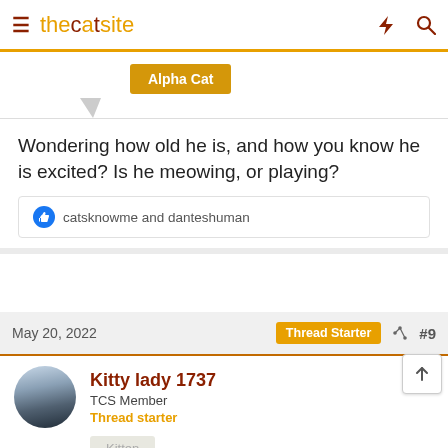thecatsite
[Figure (other): Alpha Cat badge/label (golden/amber colored button)]
Wondering how old he is, and how you know he is excited? Is he meowing, or playing?
catsknowme and danteshuman
May 20, 2022
Thread Starter  #9
Kitty lady 1737
TCS Member
Thread starter
[Figure (photo): Round avatar photo showing a dusk/dawn sky scene]
[Figure (other): Kitten badge (light colored button)]